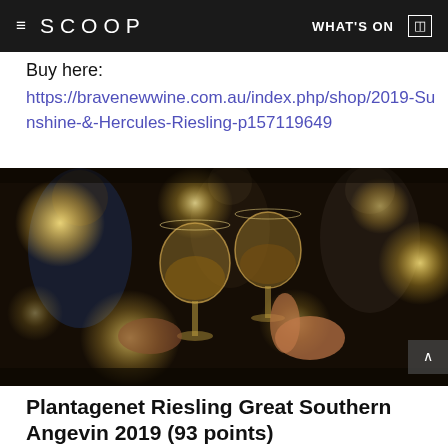≡ SCOOP    WHAT'S ON  ☰
Buy here:
https://bravenewwine.com.au/index.php/shop/2019-Sunshine-&-Hercules-Riesling-p157119649
[Figure (photo): Two people clinking wine glasses in a dark, warmly lit bar setting with bokeh background lights.]
Plantagenet Riesling Great Southern Angevin 2019 (93 points)